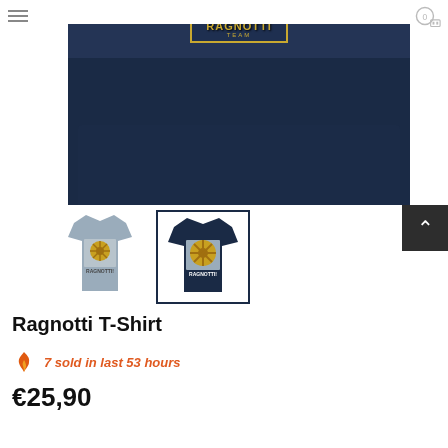navigation header with hamburger menu and cart icon
[Figure (photo): Main product image: navy blue Ragnotti T-shirt laid flat showing the back with a gold car wheel graphic on a grey rectangle patch and RAGNOTTI text]
[Figure (photo): Thumbnail 1: grey T-shirt showing back with gold graphic and RAGNOTTI text]
[Figure (photo): Thumbnail 2: navy T-shirt showing back with gold car wheel graphic and RAGNOTTI text, currently selected]
Ragnotti T-Shirt
7 sold in last 53 hours
€25,90